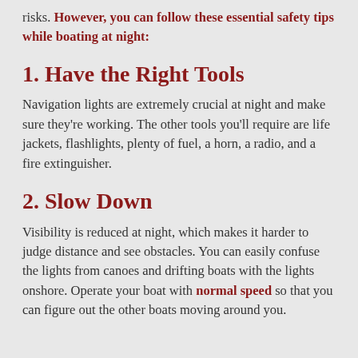risks. However, you can follow these essential safety tips while boating at night:
1. Have the Right Tools
Navigation lights are extremely crucial at night and make sure they're working. The other tools you'll require are life jackets, flashlights, plenty of fuel, a horn, a radio, and a fire extinguisher.
2. Slow Down
Visibility is reduced at night, which makes it harder to judge distance and see obstacles. You can easily confuse the lights from canoes and drifting boats with the lights onshore. Operate your boat with normal speed so that you can figure out the other boats moving around you.